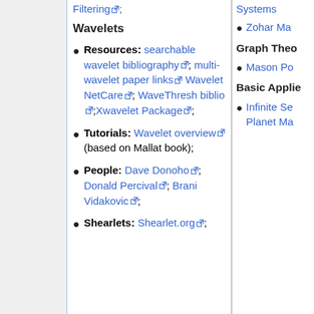Filtering;
Wavelets
Resources: searchable wavelet bibliography; multi-wavelet paper links Wavelet NetCare; WaveThresh biblio;Xwavelet Package;
Tutorials: Wavelet overview (based on Mallat book);
People: Dave Donoho; Donald Percival; Brani Vidakovic;
Shearlets: Shearlet.org;
Systems
Zohar Ma
Graph Theo
Mason Po
Basic Applie
Infinite Se Planet Ma